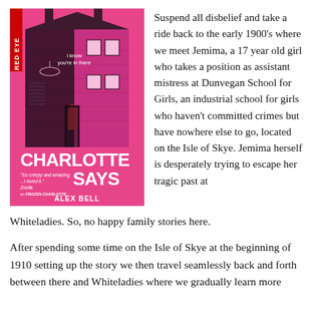[Figure (illustration): Book cover of 'Charlotte Says' by Alex Bell, published by Red Eye. Pink background with a cross-section illustration of a house. Text on cover: 'I know you're in there', 'So creepy and amazing...I loved it. Zoella on FROZEN CHARLOTTE', 'CHARLOTTE SAYS', 'ALEX BELL'.]
Suspend all disbelief and take a ride back to the early 1900's where we meet Jemima, a 17 year old girl who takes a position as assistant mistress at Dunvegan School for Girls, an industrial school for girls who haven't committed crimes but have nowhere else to go, located on the Isle of Skye. Jemima herself is desperately trying to escape her tragic past at Whiteladies. So, no happy family stories here.
After spending some time on the Isle of Skye at the beginning of 1910 setting up the story we then travel seamlessly back and forth between there and Whiteladies where we gradually learn more